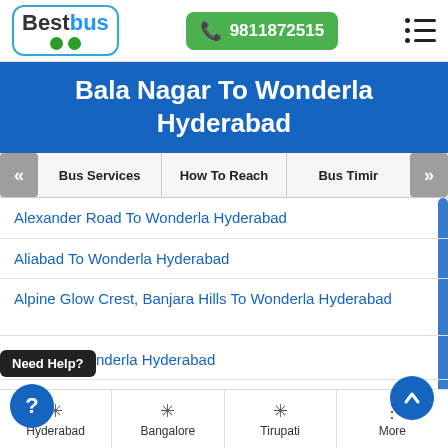BestBus | 9811872515
Bala Nagar To Wonderla Hyderabad
Bus Services | How To Reach | Bus Timir
Alexander Road To Wonderla Hyderabad
Aliabad To Wonderla Hyderabad
Alpine Glow Crest, Banjara Hills To Wonderla Hyderabad
Alwal To Wonderla Hyderabad
er Nagar To Wonderla Hyderabad
Amberpet To Wonderla Hyderabad
Hyderabad | Bangalore | Tirupati | More